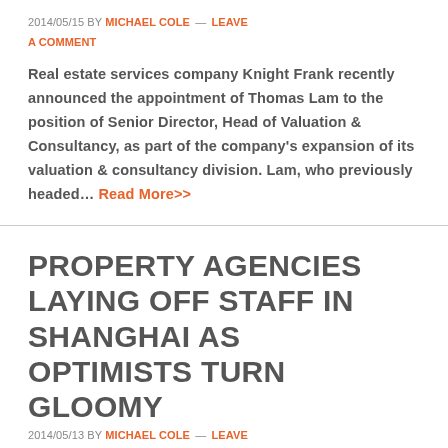2014/05/15 BY MICHAEL COLE — LEAVE A COMMENT
Real estate services company Knight Frank recently announced the appointment of Thomas Lam to the position of Senior Director, Head of Valuation & Consultancy, as part of the company's expansion of its valuation & consultancy division. Lam, who previously headed... Read More>>
PROPERTY AGENCIES LAYING OFF STAFF IN SHANGHAI AS OPTIMISTS TURN GLOOMY
2014/05/13 BY MICHAEL COLE — LEAVE